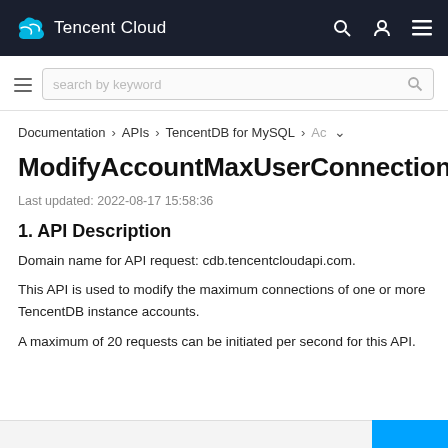Tencent Cloud
search by keyword
Documentation > APIs > TencentDB for MySQL > Ac
ModifyAccountMaxUserConnections
Last updated: 2022-08-17 15:58:36
1. API Description
Domain name for API request: cdb.tencentcloudapi.com.
This API is used to modify the maximum connections of one or more TencentDB instance accounts.
A maximum of 20 requests can be initiated per second for this API.